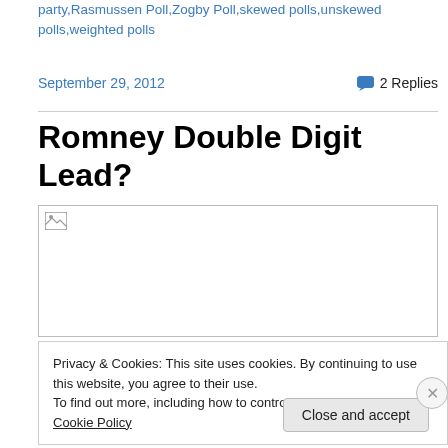party,Rasmussen Poll,Zogby Poll,skewed polls,unskewed polls,weighted polls
September 29, 2012
2 Replies
Romney Double Digit Lead?
[Figure (photo): Broken image placeholder]
Privacy & Cookies: This site uses cookies. By continuing to use this website, you agree to their use.
To find out more, including how to control cookies, see here: Cookie Policy